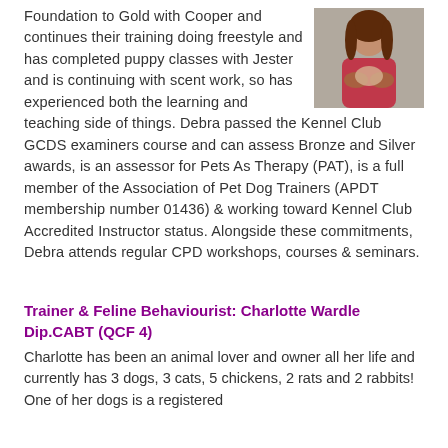Foundation to Gold with Cooper and continues their training doing freestyle and has completed puppy classes with Jester and is continuing with scent work, so has experienced both the learning and teaching side of things. Debra passed the Kennel Club GCDS examiners course and can assess Bronze and Silver awards, is an assessor for Pets As Therapy (PAT), is a full member of the Association of Pet Dog Trainers (APDT membership number 01436) & working toward Kennel Club Accredited Instructor status. Alongside these commitments, Debra attends regular CPD workshops, courses & seminars.
[Figure (photo): Photo of a woman in a red/pink top holding or interacting with an animal, photographed indoors.]
Trainer & Feline Behaviourist: Charlotte Wardle Dip.CABT (QCF 4)
Charlotte has been an animal lover and owner all her life and currently has 3 dogs, 3 cats, 5 chickens, 2 rats and 2 rabbits! One of her dogs is a registered...